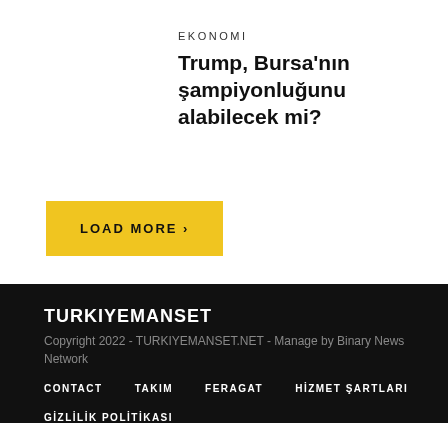EKONOMI
Trump, Bursa'nın şampiyonluğunu alabilecek mi?
LOAD MORE ›
TURKIYEMANSET
Copyright 2022 - TURKIYEMANSET.NET - Manage by Binary News Network
CONTACT
TAKIM
FERAGAT
HİZMET ŞARTLARI
GİZLİLİK POLİTİKASI